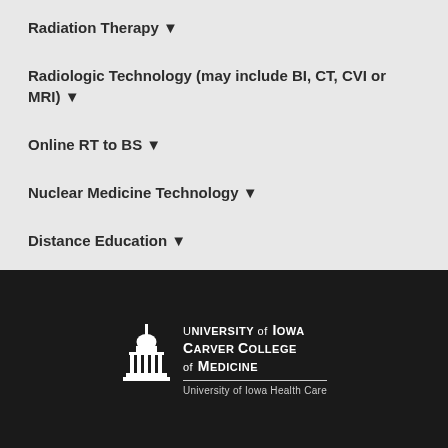Radiation Therapy ▼
Radiologic Technology (may include BI, CT, CVI or MRI) ▼
Online RT to BS ▼
Nuclear Medicine Technology ▼
Distance Education ▼
[Figure (logo): University of Iowa Carver College of Medicine logo with building icon and text 'University of Iowa Health Care']